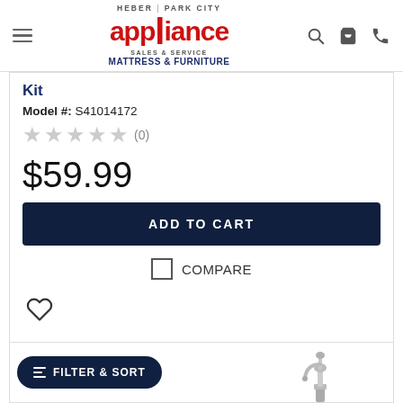[Figure (logo): Heber Park City Appliance Sales & Service, Mattress & Furniture logo with hamburger menu and header icons]
Kit
Model #: S41014172
★★★★★ (0)
$59.99
ADD TO CART
COMPARE
[Figure (illustration): Heart/wishlist icon outline]
FILTER & SORT
[Figure (photo): Partial product image (chrome faucet/appliance) at bottom of page]